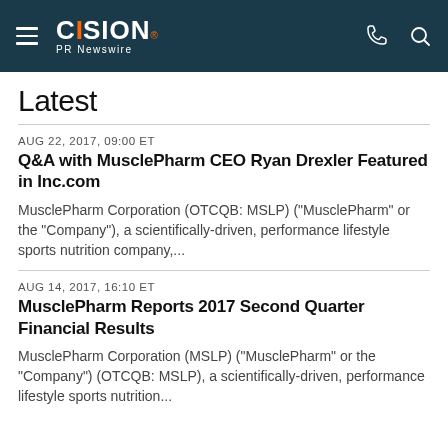CISION PR Newswire
Latest
AUG 22, 2017, 09:00 ET
Q&A with MusclePharm CEO Ryan Drexler Featured in Inc.com
MusclePharm Corporation (OTCQB: MSLP) ("MusclePharm" or the "Company"), a scientifically-driven, performance lifestyle sports nutrition company,...
AUG 14, 2017, 16:10 ET
MusclePharm Reports 2017 Second Quarter Financial Results
MusclePharm Corporation (MSLP) ("MusclePharm" or the "Company") (OTCQB: MSLP), a scientifically-driven, performance lifestyle sports nutrition...